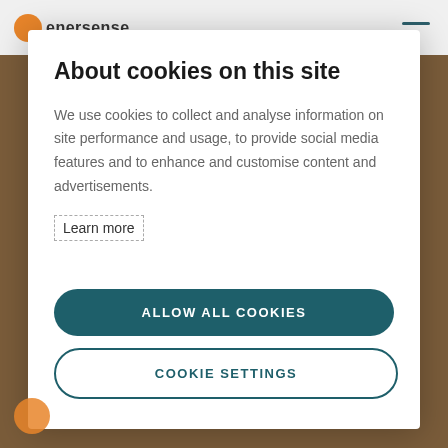About cookies on this site
We use cookies to collect and analyse information on site performance and usage, to provide social media features and to enhance and customise content and advertisements.
Learn more
ALLOW ALL COOKIES
COOKIE SETTINGS